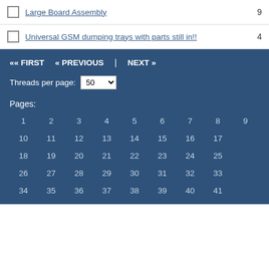Large Board Assembly  9
Universal GSM dumping trays with parts still in!!  4
«« FIRST  « PREVIOUS  |  NEXT »
Threads per page: 50
Pages:
1  2  3  4  5  6  7  8  9  10  11  12  13  14  15  16  17  18  19  20  21  22  23  24  25  26  27  28  29  30  31  32  33  34  35  36  37  38  39  40  41